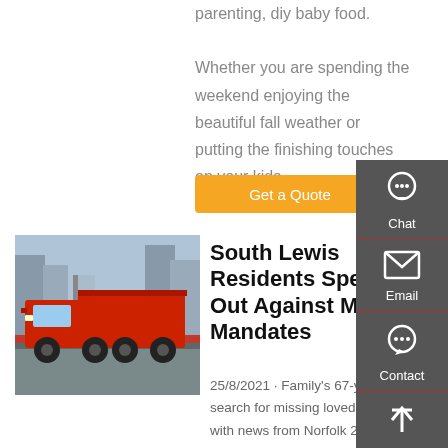parenting, diy baby food. Whether you are spending the weekend enjoying the beautiful fall weather or putting the finishing touches on your kids
Get a Quote
[Figure (photo): Red large dump truck parked on a street with buildings in the background]
South Lewis Residents Speak Out Against Mask Mandates
25/8/2021 · Family's 67-year search for missing loved one ends with news from Norfolk 2 injured in crash between SUV